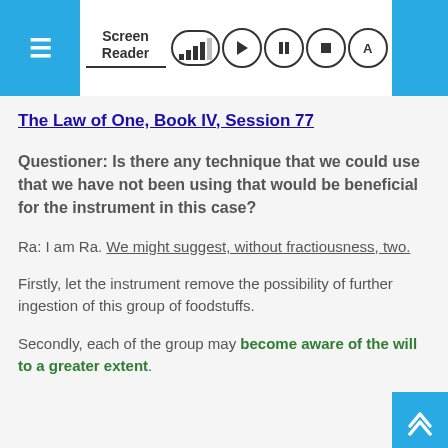Screen Reader
The Law of One, Book IV, Session 77
Questioner: Is there any technique that we could use that we have not been using that would be beneficial for the instrument in this case?
Ra: I am Ra. We might suggest, without fractiousness, two.
Firstly, let the instrument remove the possibility of further ingestion of this group of foodstuffs.
Secondly, each of the group may become aware of the will to a greater extent.